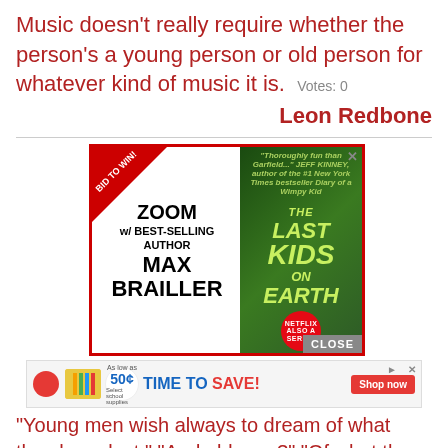Music doesn't really require whether the person's a young person or old person for whatever kind of music it is. Votes: 0
Leon Redbone
[Figure (other): Advertisement banner for 'Bid to Win! ZOOM w/ Best-Selling Author MAX BRAILLER' featuring book 'The Last Kids on Earth' (Netflix series). Red border, bid banner in corner, book cover on right side.]
[Figure (other): Advertisement banner: 'As low as 50¢ TIME TO SAVE! Shop now' with school supplies imagery.]
"Young men wish always to dream of what they have lost." "And old men?" "Of what they have